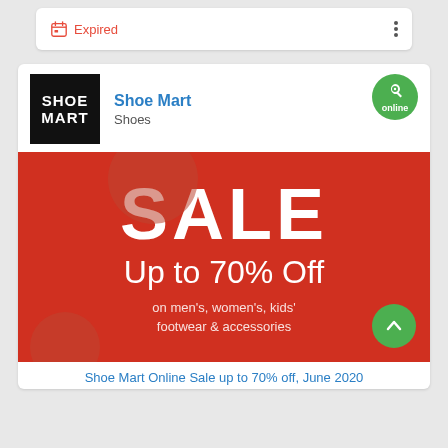Expired
[Figure (screenshot): Shoe Mart store listing card with logo, 'online' badge, and sale banner showing 'SALE Up to 70% Off on men's, women's, kids' footwear & accessories']
Shoe Mart
Shoes
Shoe Mart Online Sale up to 70% off, June 2020